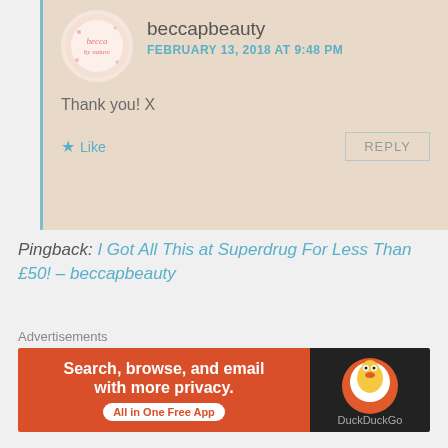beccapbeauty
FEBRUARY 13, 2018 AT 9:48 PM
Thank you! X
Like
REPLY
Pingback: I Got All This at Superdrug For Less Than £50! – beccapbeauty
LEAVE A REPLY
Your email address will not be published. Required fields are marked *
Advertisements
[Figure (other): DuckDuckGo advertisement banner: orange left side with text 'Search, browse, and email with more privacy. All in One Free App' and dark right side with DuckDuckGo duck logo]